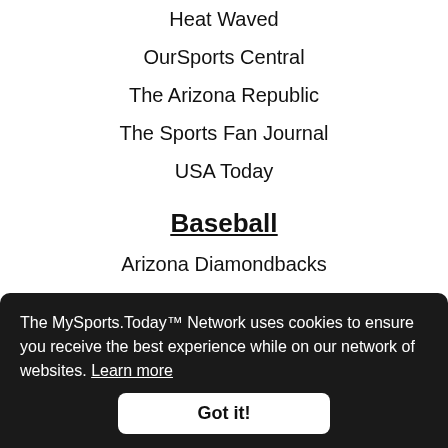Heat Waved
OurSports Central
The Arizona Republic
The Sports Fan Journal
USA Today
Baseball
Arizona Diamondbacks
AZ Snake Pit
Last Word On Baseball
MLB Trade Rumors
The MySports.Today™ Network uses cookies to ensure you receive the best experience while on our network of websites. Learn more
Got it!